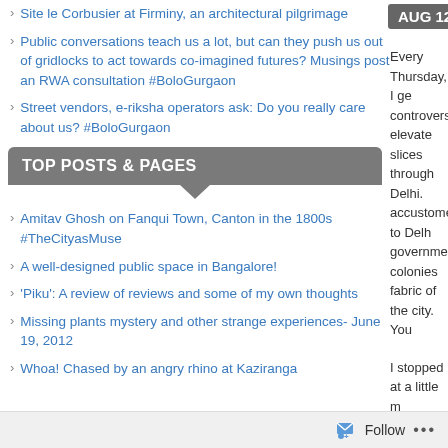Site le Corbusier at Firminy, an architectural pilgrimage
Public conversations teach us a lot, but can they push us out of gridlocks to act towards co-imagined futures? Musings post an RWA consultation #BoloGurgaon
Street vendors, e-riksha operators ask: Do you really care about us? #BoloGurgaon
TOP POSTS & PAGES
Amitav Ghosh on Fanqui Town, Canton in the 1800s #TheCityasMuse
A well-designed public space in Bangalore!
'Piku': A review of reviews and some of my own thoughts
Missing plants mystery and other strange experiences- June 19, 2012
Whoa! Chased by an angry rhino at Kaziranga
AUG 12  Posted
Every Thursday, I ge controversial elevate slices through Delhi. accustomed to Delhi government colonies fabric of the city. You
I stopped at a little m there was a lively dis kilo of wheat into flo can begin to underst there; mind here, he
I got to click some in up in public spaces w blah to blitz. I want t use some of these s
Follow ...